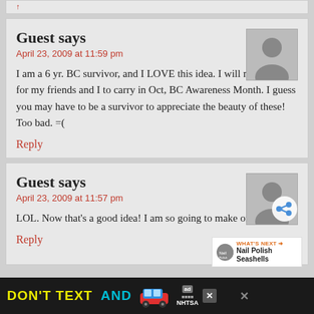Guest says
April 23, 2009 at 11:59 pm
I am a 6 yr. BC survivor, and I LOVE this idea. I will make some for my friends and I to carry in Oct, BC Awareness Month. I guess you may have to be a survivor to appreciate the beauty of these! Too bad. =(
Reply
Guest says
April 23, 2009 at 11:57 pm
LOL. Now that's a good idea! I am so going to make one!
Reply
[Figure (infographic): DON'T TEXT AND DRIVE ad banner with car emoji and NHTSA logo]